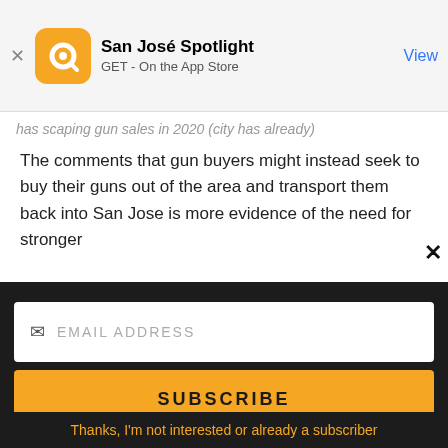[Figure (screenshot): App Store banner for San José Spotlight app with orange circular logo, text 'San José Spotlight / GET - On the App Store' and blue 'View' button]
has scaping gun sales in 2020 (city has already)
The comments that gun buyers might instead seek to buy their guns out of the area and transport them back into San Jose is more evidence of the need for stronger
[Figure (advertisement): San José Spotlight advertisement with logo, tagline 'Where San Jose locals start the day.' and sanjosespotlight.com url, with tablet/coffee visual on right]
EMAIL ADDRESS
SUBSCRIBE
Thanks, I'm not interested or already a subscriber